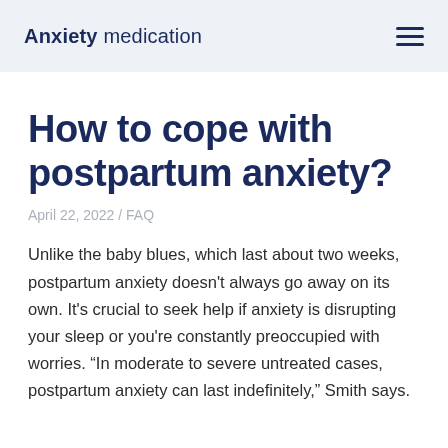Anxiety medication
How to cope with postpartum anxiety?
April 22, 2022 / FAQ
Unlike the baby blues, which last about two weeks, postpartum anxiety doesn't always go away on its own. It's crucial to seek help if anxiety is disrupting your sleep or you're constantly preoccupied with worries. “In moderate to severe untreated cases, postpartum anxiety can last indefinitely,” Smith says.